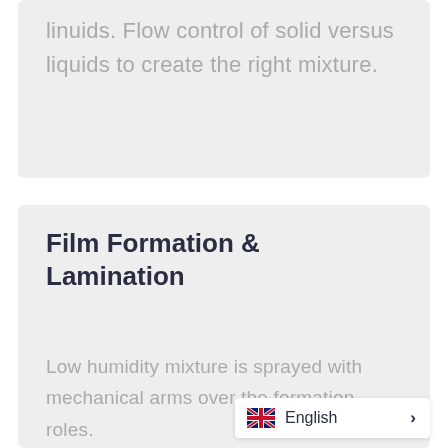linuids. Flow control of solid versus liquids to create the right mixture.
Film Formation & Lamination
Low humidity mixture is sprayed with mechanical arms over the formation roles.
Variable tangential speeds are applied to ensure the